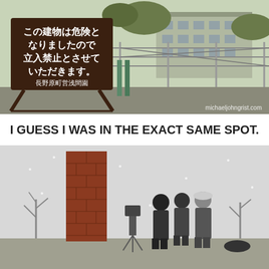[Figure (photo): Outdoor photo showing a Japanese warning sign on a dark brown A-frame board with white Japanese text reading roughly 'This building has become dangerous, entry is prohibited' and smaller text '長野原町営浅間園'. Behind the sign is a fence with barbed wire and an abandoned building. Watermark reads 'michaeljohngrist.com' in bottom right corner.]
I GUESS I WAS IN THE EXACT SAME SPOT.
[Figure (photo): Outdoor winter photo showing three people huddled together in snowy conditions on a rooftop or elevated flat area next to a tall red brick chimney or pillar. The sky is overcast grey. Bare trees visible in the background. The people are wearing winter coats.]